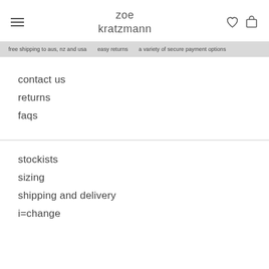zoe kratzmann
free shipping to aus, nz and usa   easy returns   a variety of secure payment options
contact us
returns
faqs
stockists
sizing
shipping and delivery
i=change